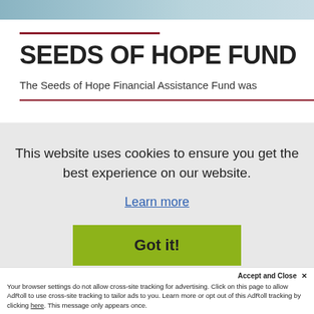[Figure (photo): Top image bar showing a partial photo of a landscape or header image]
SEEDS OF HOPE FUND
The Seeds of Hope Financial Assistance Fund was
This website uses cookies to ensure you get the best experience on our website.
Learn more
Got it!
Accept and Close ✕
Your browser settings do not allow cross-site tracking for advertising. Click on this page to allow AdRoll to use cross-site tracking to tailor ads to you. Learn more or opt out of this AdRoll tracking by clicking here. This message only appears once.